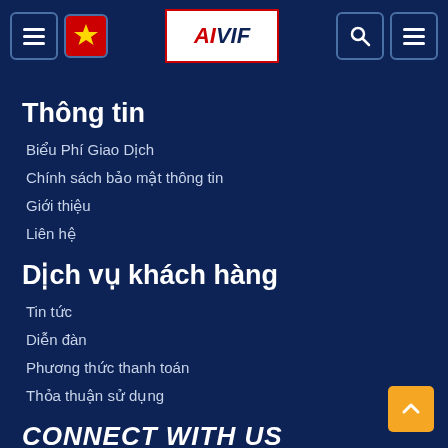AIVIF navigation header with menu, logo, search and menu icons
Thông tin
Biểu Phí Giao Dịch
Chính sách bảo mật thông tin
Giới thiệu
Liên hệ
Dịch vụ khách hàng
Tin tức
Diễn đàn
Phương thức thanh toán
Thỏa thuận sử dụng
CONNECT WITH US